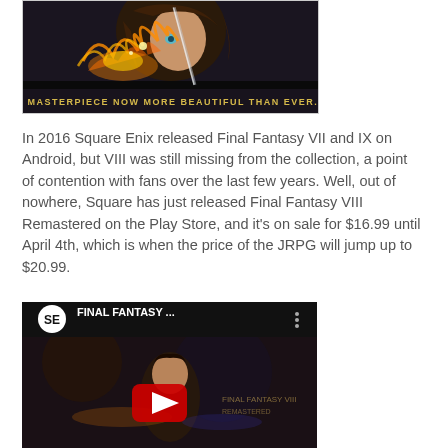[Figure (screenshot): Final Fantasy VIII Remastered promotional image showing anime-style character with fire, text 'A MASTERPIECE NOW MORE BEAUTIFUL THAN EVER...']
In 2016 Square Enix released Final Fantasy VII and IX on Android, but VIII was still missing from the collection, a point of contention with fans over the last few years. Well, out of nowhere, Square has just released Final Fantasy VIII Remastered on the Play Store, and it's on sale for $16.99 until April 4th, which is when the price of the JRPG will jump up to $20.99.
[Figure (screenshot): YouTube video thumbnail for Final Fantasy video, showing SE channel logo, title 'FINAL FANTASY ...' with three-dot menu, and video thumbnail with YouTube play button overlay]